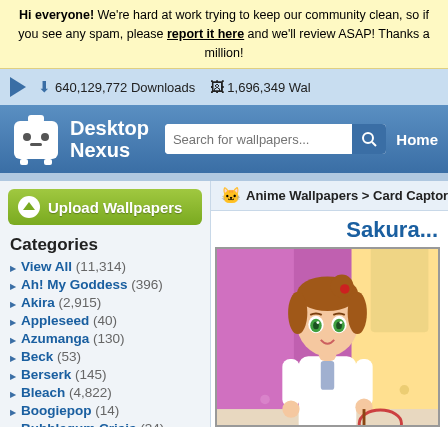Hi everyone! We're hard at work trying to keep our community clean, so if you see any spam, please report it here and we'll review ASAP! Thanks a million!
640,129,772 Downloads   1,696,349 Wal
[Figure (logo): Desktop Nexus logo with white ghost/robot mascot icon and text 'Desktop Nexus']
Search for wallpapers...
Home
Upload Wallpapers
Anime Wallpapers > Card Captor Saku...
Categories
View All (11,314)
Ah! My Goddess (396)
Akira (2,915)
Appleseed (40)
Azumanga (130)
Beck (53)
Berserk (145)
Bleach (4,822)
Boogiepop (14)
Bubblegum Crisis (34)
Burst Angel (103)
Card Captor Sakura (736)
Chobits (406)
Chrono Crusade (61)
Sakura...
[Figure (illustration): Anime illustration of Sakura from Card Captor Sakura, a brown-haired girl with green eyes in a white school uniform, standing in front of a colorful background]